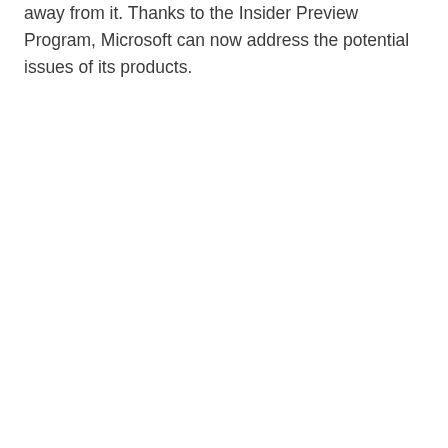away from it. Thanks to the Insider Preview Program, Microsoft can now address the potential issues of its products.